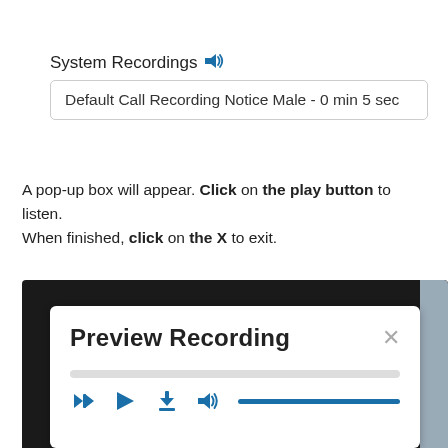System Recordings
Default Call Recording Notice Male - 0 min 5 sec
A pop-up box will appear. Click on the play button to listen. When finished, click on the X to exit.
[Figure (screenshot): Screenshot of a 'Preview Recording' popup dialog box with a progress bar, play/rewind/download/volume controls, and an X close button.]